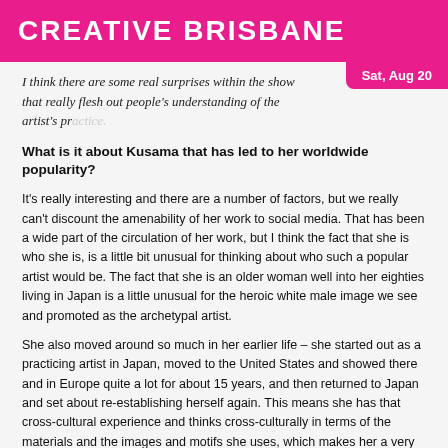CREATIVE BRISBANE
I think there are some real surprises within the show that really flesh out people's understanding of the artist's practice.
What is it about Kusama that has led to her worldwide popularity?
It's really interesting and there are a number of factors, but we really can't discount the amenability of her work to social media. That has been a wide part of the circulation of her work, but I think the fact that she is who she is, is a little bit unusual for thinking about who such a popular artist would be. The fact that she is an older woman well into her eighties living in Japan is a little unusual for the heroic white male image we see and promoted as the archetypal artist.
She also moved around so much in her earlier life – she started out as a practicing artist in Japan, moved to the United States and showed there and in Europe quite a lot for about 15 years, and then returned to Japan and set about re-establishing herself again. This means she has that cross-cultural experience and thinks cross-culturally in terms of the materials and the images and motifs she uses, which makes her a very interesting artist within the context of globalisation.
It is interesting to see where she is popular and where the big exhibition numbers are coming from. They are coming from everywhere – and that's the